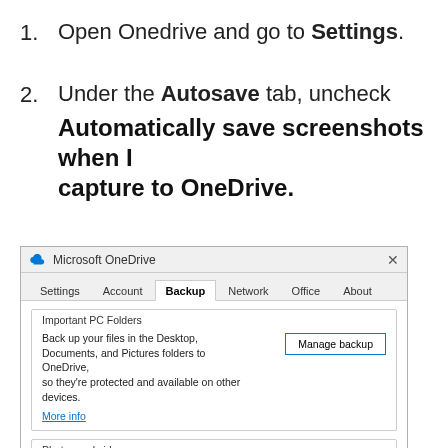1. Open Onedrive and go to Settings.
2. Under the Autosave tab, uncheck Automatically save screenshots when I capture to OneDrive.
[Figure (screenshot): Microsoft OneDrive settings dialog showing the Backup tab with Important PC Folders section (Manage backup button), Photos and videos section with unchecked checkbox, and Screenshots section header at bottom.]